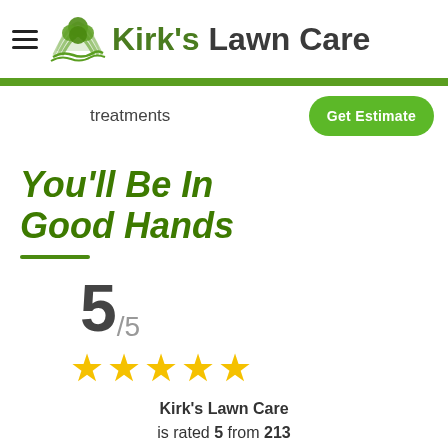Kirk's Lawn Care
treatments
Get Estimate
You'll Be In Good Hands
5/5
[Figure (other): Five gold stars rating display]
Kirk's Lawn Care is rated 5 from 213 reviews & testimonials